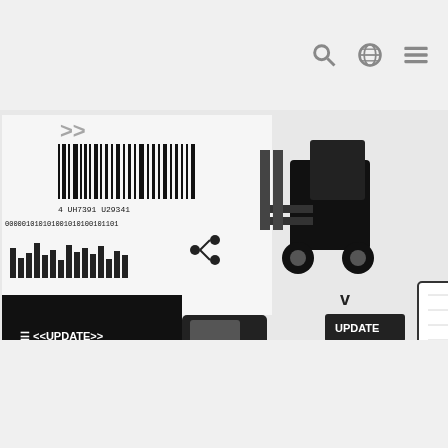[Figure (infographic): Black and white logistics/supply chain infographic collage featuring: barcode, forklift, delivery truck, world map silhouette, binary code text, stock/line chart panel, UPDATE button icon, chevron arrows, a worker silhouette with pallet jack, a monitor displaying bar charts, and various logistics icons on a light grey background.]